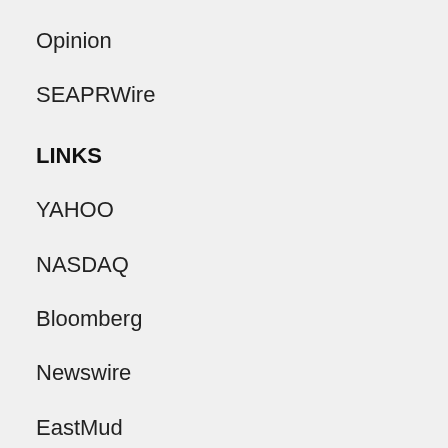Opinion
SEAPRWire
LINKS
YAHOO
NASDAQ
Bloomberg
Newswire
EastMud
AsiaEase
NetDace
BestVN